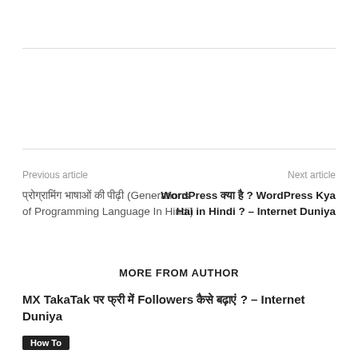Previous article
Next article
प्रोग्रामिंग भाषाओं की पीढ़ी (Generations of Programming Language In Hindi)
WordPress क्या है ? WordPress Kya Hai in Hindi ? – Internet Duniya
MORE FROM AUTHOR
MX TakaTak पर फ्री में Followers कैसे बढ़ाएं ? – Internet Duniya
How To